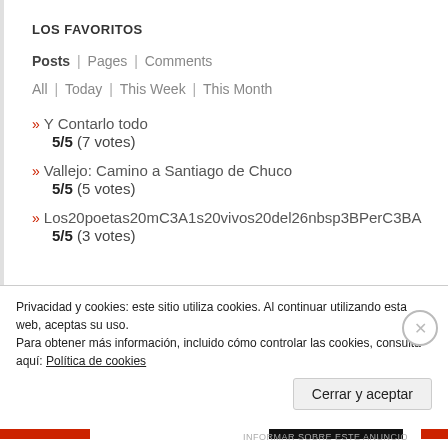LOS FAVORITOS
Posts | Pages | Comments
All | Today | This Week | This Month
» Y Contarlo todo
5/5 (7 votes)
» Vallejo: Camino a Santiago de Chuco
5/5 (5 votes)
» Los20poetas20mC3A1s20vivos20del26nbsp3BPerC3BA
5/5 (3 votes)
Anuncios
Privacidad y cookies: este sitio utiliza cookies. Al continuar utilizando esta web, aceptas su uso.
Para obtener más información, incluido cómo controlar las cookies, consulta aquí: Política de cookies
Cerrar y aceptar